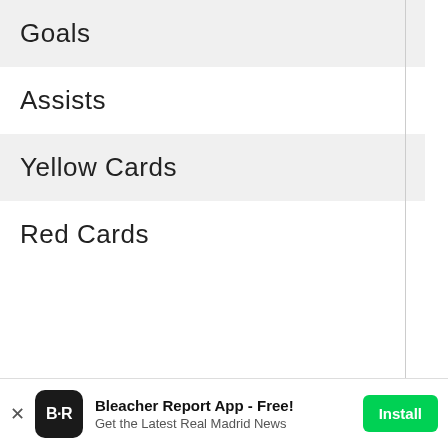Goals
Assists
Yellow Cards
Red Cards
WhoScored.com and Author Calculation
Whenever you sit down to evaluate Ronaldo's statistics, your eyes are automatically drawn to one figure: goals.
Bleacher Report App - Free! Get the Latest Real Madrid News Install